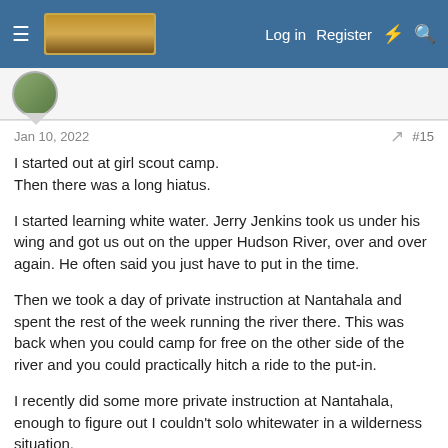Log in  Register
Jan 10, 2022  #15
I started out at girl scout camp.
Then there was a long hiatus.
I started learning white water. Jerry Jenkins took us under his wing and got us out on the upper Hudson River, over and over again. He often said you just have to put in the time.
Then we took a day of private instruction at Nantahala and spent the rest of the week running the river there. This was back when you could camp for free on the other side of the river and you could practically hitch a ride to the put-in.
I recently did some more private instruction at Nantahala, enough to figure out I couldn't solo whitewater in a wilderness situation.